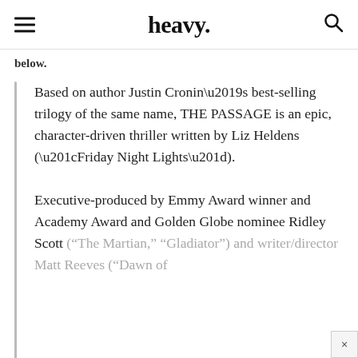heavy.
below.
Based on author Justin Cronin’s best-selling trilogy of the same name, THE PASSAGE is an epic, character-driven thriller written by Liz Heldens (“Friday Night Lights”).
Executive-produced by Emmy Award winner and Academy Award and Golden Globe nominee Ridley Scott (“The Martian,” “Gladiator”) and writer/director Matt Reeves (“Dawn of